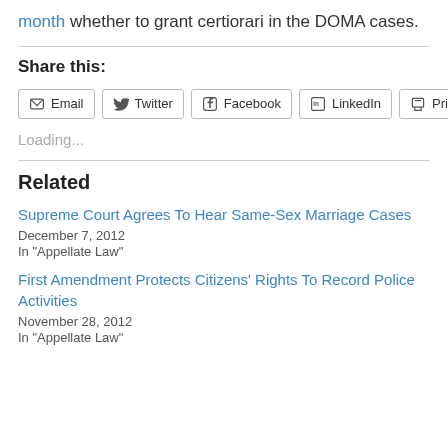month whether to grant certiorari in the DOMA cases.
Share this:
[Figure (other): Social sharing buttons: Email, Twitter, Facebook, LinkedIn, Print]
Loading...
Related
Supreme Court Agrees To Hear Same-Sex Marriage Cases
December 7, 2012
In "Appellate Law"
First Amendment Protects Citizens' Rights To Record Police Activities
November 28, 2012
In "Appellate Law"